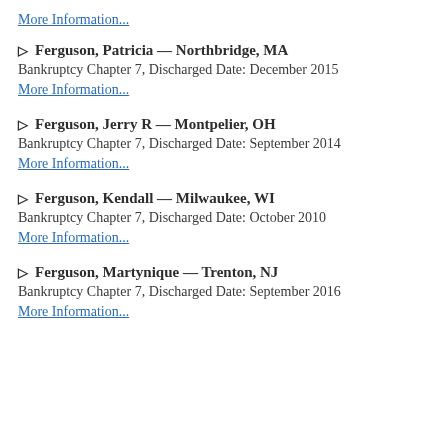More Information...
▷ Ferguson, Patricia — Northbridge, MA
Bankruptcy Chapter 7, Discharged Date: December 2015
More Information...
▷ Ferguson, Jerry R — Montpelier, OH
Bankruptcy Chapter 7, Discharged Date: September 2014
More Information...
▷ Ferguson, Kendall — Milwaukee, WI
Bankruptcy Chapter 7, Discharged Date: October 2010
More Information...
▷ Ferguson, Martynique — Trenton, NJ
Bankruptcy Chapter 7, Discharged Date: September 2016
More Information...